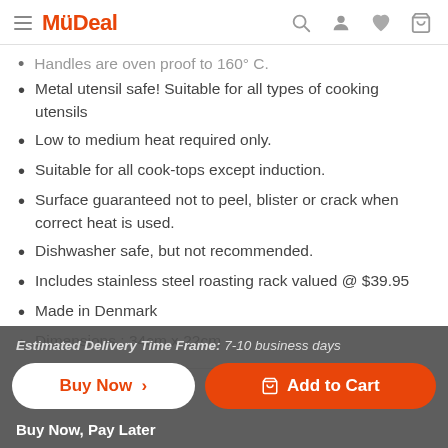MyDeal
Handles are oven proof to 160°C.
Metal utensil safe! Suitable for all types of cooking utensils
Low to medium heat required only.
Suitable for all cook-tops except induction.
Surface guaranteed not to peel, blister or crack when correct heat is used.
Dishwasher safe, but not recommended.
Includes stainless steel roasting rack valued @ $39.95
Made in Denmark
Dimensions : 34cm x 22cm
Estimated Delivery Time Frame: 7-10 business days
Buy Now, Pay Later